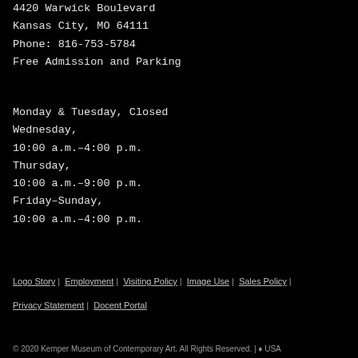4420 Warwick Boulevard
Kansas City, MO 64111
Phone: 816-753-5784
Free Admission and Parking
Monday & Tuesday, Closed
Wednesday,
10:00 a.m.-4:00 p.m.
Thursday,
10:00 a.m.-9:00 p.m.
Friday-Sunday,
10:00 a.m.-4:00 p.m.
Logo Story | Employment | Visiting Policy | Image Use | Sales Policy | Privacy Statement | Docent Portal
© 2020 Kemper Museum of Contemporary Art. All Rights Reserved. | ♦ USA